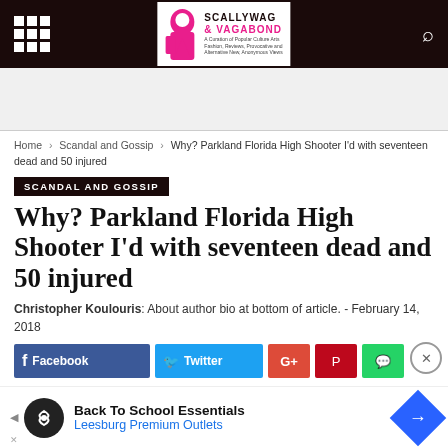Scallywag & Vagabond
Home › Scandal and Gossip › Why? Parkland Florida High Shooter I'd with seventeen dead and 50 injured
SCANDAL AND GOSSIP
Why? Parkland Florida High Shooter I'd with seventeen dead and 50 injured
Christopher Koulouris: About author bio at bottom of article. - February 14, 2018